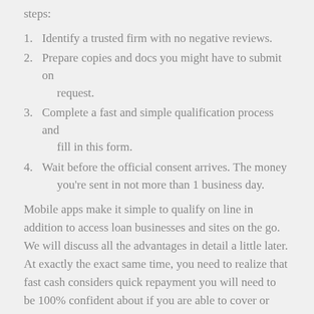steps:
Identify a trusted firm with no negative reviews.
Prepare copies and docs you might have to submit on request.
Complete a fast and simple qualification process and fill in this form.
Wait before the official consent arrives. The money you're sent in not more than 1 business day.
Mobile apps make it simple to qualify on line in addition to access loan businesses and sites on the go. We will discuss all the advantages in detail a little later. At exactly the exact same time, you need to realize that fast cash considers quick repayment you will need to be 100% confident about if you are able to cover or not.